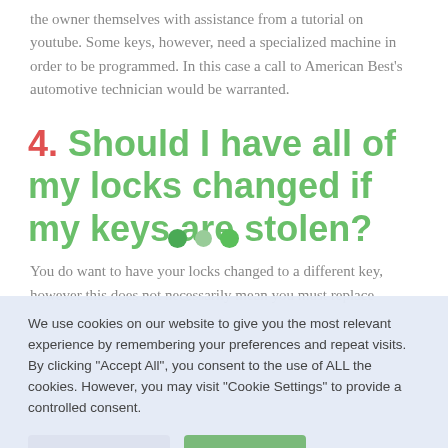the owner themselves with assistance from a tutorial on youtube. Some keys, however, need a specialized machine in order to be programmed. In this case a call to American Best's automotive technician would be warranted.
4. Should I have all of my locks changed if my keys are stolen?
You do want to have your locks changed to a different key, however this does not necessarily mean you must replace
We use cookies on our website to give you the most relevant experience by remembering your preferences and repeat visits. By clicking "Accept All", you consent to the use of ALL the cookies. However, you may visit "Cookie Settings" to provide a controlled consent.